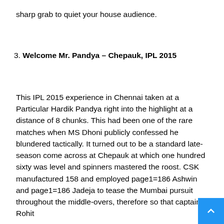sharp grab to quiet your house audience.
3. Welcome Mr. Pandya – Chepauk, IPL 2015
This IPL 2015 experience in Chennai taken at a Particular Hardik Pandya right into the highlight at a distance of 8 chunks. This had been one of the rare matches when MS Dhoni publicly confessed he blundered tactically. It turned out to be a standard late-season come across at Chepauk at which one hundred sixty was level and spinners mastered the roost. CSK manufactured 158 and employed page1=186 Ashwin and page1=186 Jadeja to tease the Mumbai pursuit throughout the middle-overs, therefore so that captain Rohit